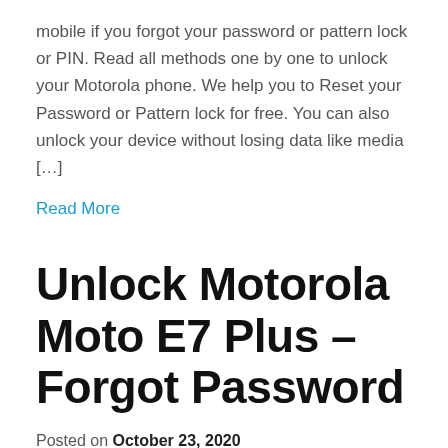mobile if you forgot your password or pattern lock or PIN. Read all methods one by one to unlock your Motorola phone. We help you to Reset your Password or Pattern lock for free. You can also unlock your device without losing data like media […]
Read More
Unlock Motorola Moto E7 Plus – Forgot Password
Posted on October 23, 2020
Here you can easily Unlock the Motorola Moto E7 Plus Android mobile if you forgot your password or pattern lock or PIN. Read all methods one by one to unlock your Motorola phone. We help